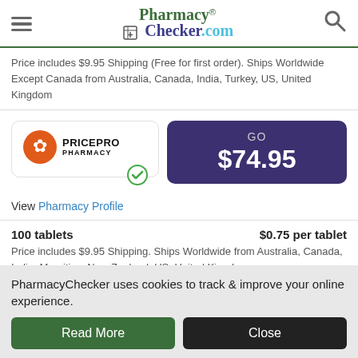PharmacyChecker.com
Price includes $9.95 Shipping (Free for first order). Ships Worldwide Except Canada from Australia, Canada, India, Turkey, US, United Kingdom
[Figure (logo): PricePro Pharmacy logo with orange maple leaf icon and green verified checkmark badge]
GO $74.95
View Pharmacy Profile
100 tablets   $0.75 per tablet
Price includes $9.95 Shipping. Ships Worldwide from Australia, Canada, India, Mauritius, New Zealand, US, United Kingdom
PharmacyChecker uses cookies to track & improve your online experience.
Read More   Close